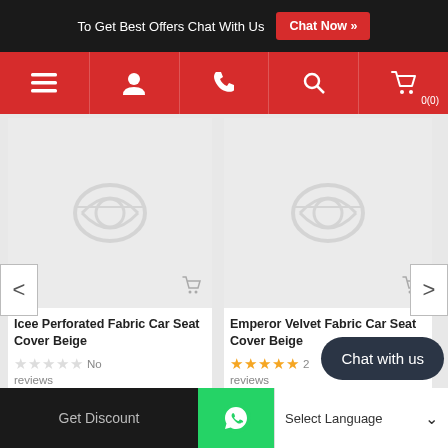To Get Best Offers Chat With Us  Chat Now »
[Figure (screenshot): Red navigation bar with hamburger menu, user icon, phone icon, search icon, and cart icon (0)]
[Figure (photo): Product image placeholder (loading/broken image) for Icee Perforated Fabric Car Seat Cover Beige with cart icon]
Icee Perforated Fabric Car Seat Cover Beige
No reviews
Rs. 9,126.00  Rs. 10,140.00
[Figure (photo): Product image placeholder (loading/broken image) for Emperor Velvet Fabric Car Seat Cover Beige with cart icon]
Emperor Velvet Fabric Car Seat Cover Beige
2 reviews
Rs. 13,239.00  Rs. 14,71...
Chat with us
Get Discount   [WhatsApp icon]   Select Language